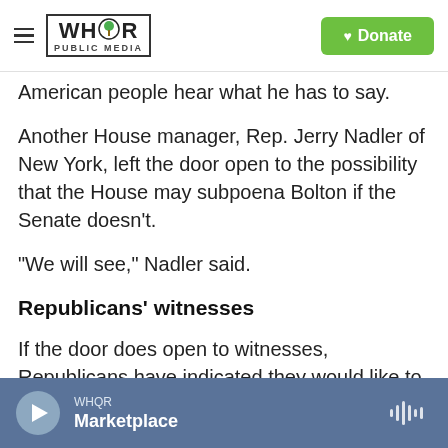WHQR PUBLIC MEDIA | Donate
American people hear what he has to say.
Another House manager, Rep. Jerry Nadler of New York, left the door open to the possibility that the House may subpoena Bolton if the Senate doesn't.
"We will see," Nadler said.
Republicans' witnesses
If the door does open to witnesses, Republicans have indicated they would like to call people such as Hunter Biden, who had served on a Ukrainian energy company board.
WHQR
Marketplace